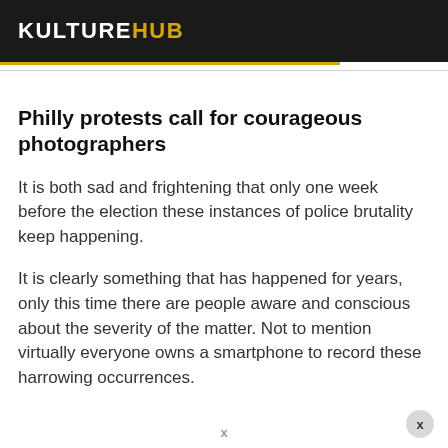KULTUREHUB
Philly protests call for courageous photographers
It is both sad and frightening that only one week before the election these instances of police brutality keep happening.
It is clearly something that has happened for years, only this time there are people aware and conscious about the severity of the matter. Not to mention virtually everyone owns a smartphone to record these harrowing occurrences.